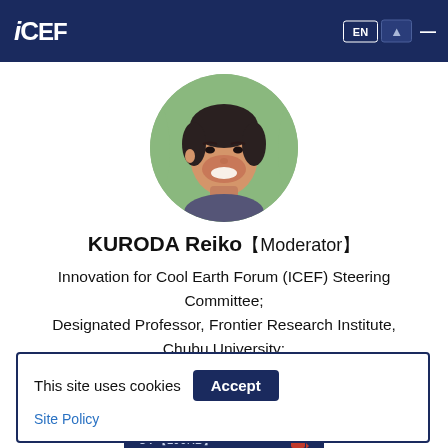ICEF — EN navigation header
[Figure (photo): Circular portrait photo of KURODA Reiko, a woman with short dark hair smiling, against a green background]
KURODA Reiko【Moderator】
Innovation for Cool Earth Forum (ICEF) Steering Committee; Designated Professor, Frontier Research Institute, Chubu University; Professor Emeritus, The University of Tokyo
CV【190KB】
This site uses cookies   Accept
Site Policy